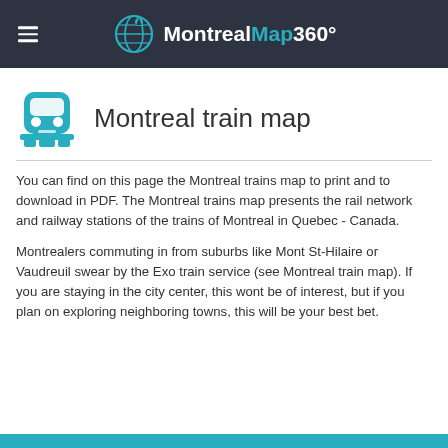MontrealMap360°
Montreal train map
You can find on this page the Montreal trains map to print and to download in PDF. The Montreal trains map presents the rail network and railway stations of the trains of Montreal in Quebec - Canada.
Montrealers commuting in from suburbs like Mont St-Hilaire or Vaudreuil swear by the Exo train service (see Montreal train map). If you are staying in the city center, this wont be of interest, but if you plan on exploring neighboring towns, this will be your best bet.